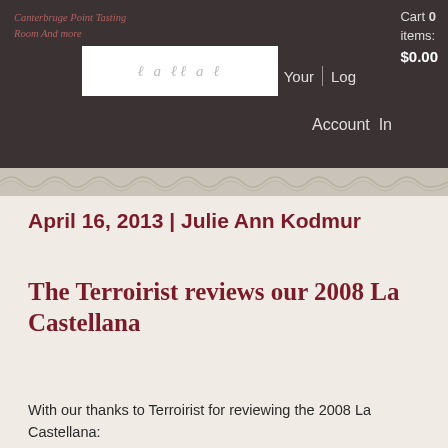Cart 0 items: $0.00 | Your | Log | Account In
[Figure (logo): Cursive/script logo in white box on dark header background]
April 16, 2013 | Julie Ann Kodmur
The Terroirist reviews our 2008 La Castellana
With our thanks to Terroirist for reviewing the 2008 La Castellana: